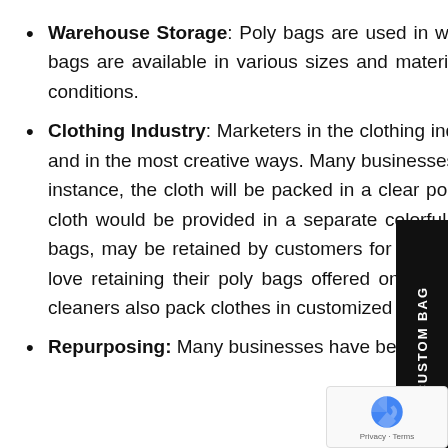Warehouse Storage: Poly bags are used in warehouses for storage or as a packaging tool. These bags are available in various sizes and material constructions, which can withstand harsh weather conditions.
Clothing Industry: Marketers in the clothing industry have been using printed poly bags for decades and in the most creative ways. Many businesses use two types of packaging for securing clothes. For instance, the cloth will be packed in a clear poly bag printed with brand information and the packed cloth would be provided in a separate colorful poly bag printed with brand information. Both these bags, may be retained by customers for various reasons. As it has been seen that most customers love retaining their poly bags offered on cloth purchase to show their brand loyalty. Similarly, dry cleaners also pack clothes in customized plastic bags, which people usually store.
Repurposing: Many businesses have been repurposing plastic bags to more useful items to